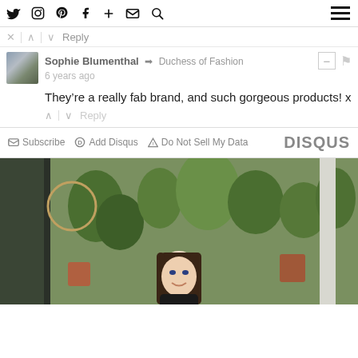Navigation bar with social icons: Twitter, Instagram, Pinterest, Facebook, Plus, Email, Search, and hamburger menu
Reply
Sophie Blumenthal → Duchess of Fashion
6 years ago
They're a really fab brand, and such gorgeous products! x
Reply
Subscribe  Add Disqus  Do Not Sell My Data  DISQUS
[Figure (photo): Outdoor garden scene with a young woman with long dark hair smiling, surrounded by potted plants and greenery in what appears to be a restaurant or courtyard setting]